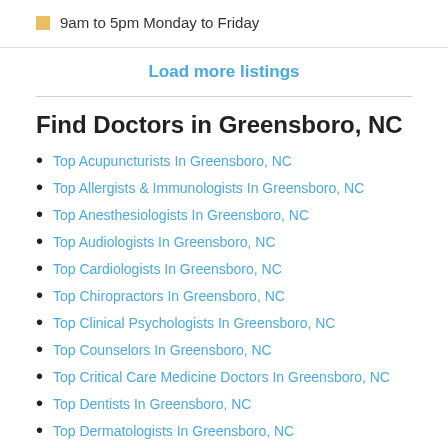9am to 5pm Monday to Friday
Load more listings
Find Doctors in Greensboro, NC
Top Acupuncturists In Greensboro, NC
Top Allergists & Immunologists In Greensboro, NC
Top Anesthesiologists In Greensboro, NC
Top Audiologists In Greensboro, NC
Top Cardiologists In Greensboro, NC
Top Chiropractors In Greensboro, NC
Top Clinical Psychologists In Greensboro, NC
Top Counselors In Greensboro, NC
Top Critical Care Medicine Doctors In Greensboro, NC
Top Dentists In Greensboro, NC
Top Dermatologists In Greensboro, NC
Top Diabetes, Metabolism & Endocrinology Specialists